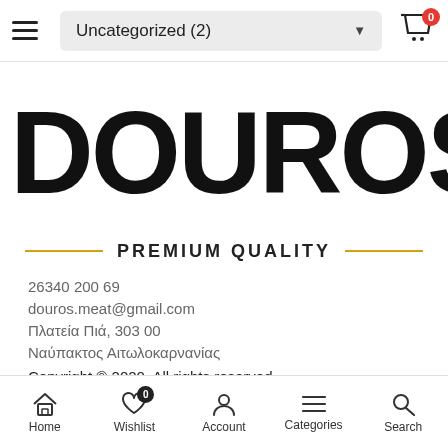Uncategorized (2)
[Figure (logo): DOUROS large bold logo text]
PREMIUM QUALITY
26340 200 69
douros.meat@gmail.com
Πλατεία Πιά,  303 00
Ναύπακτος Αιτωλοκαρνανίας
Copyright © 2020. All rights reserved
Home  Wishlist  Account  Categories  Search